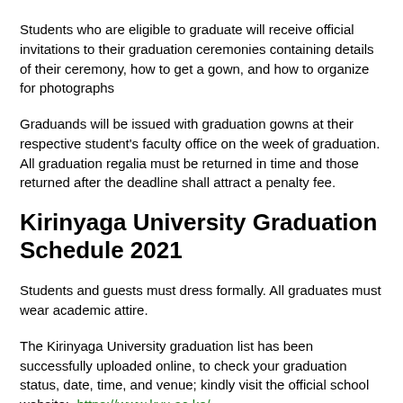Students who are eligible to graduate will receive official invitations to their graduation ceremonies containing details of their ceremony, how to get a gown, and how to organize for photographs
Graduands will be issued with graduation gowns at their respective student's faculty office on the week of graduation. All graduation regalia must be returned in time and those returned after the deadline shall attract a penalty fee.
Kirinyaga University Graduation Schedule 2021
Students and guests must dress formally. All graduates must wear academic attire.
The Kirinyaga University graduation list has been successfully uploaded online, to check your graduation status, date, time, and venue; kindly visit the official school website:  https://www.kyu.ac.ke/